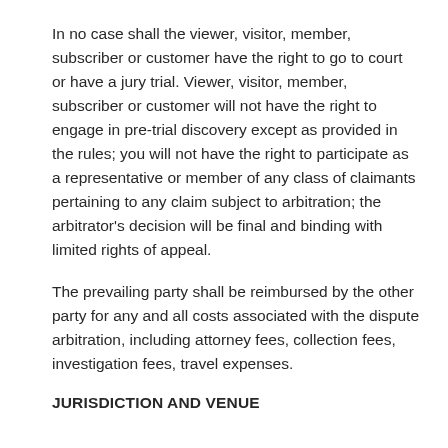In no case shall the viewer, visitor, member, subscriber or customer have the right to go to court or have a jury trial. Viewer, visitor, member, subscriber or customer will not have the right to engage in pre-trial discovery except as provided in the rules; you will not have the right to participate as a representative or member of any class of claimants pertaining to any claim subject to arbitration; the arbitrator's decision will be final and binding with limited rights of appeal.
The prevailing party shall be reimbursed by the other party for any and all costs associated with the dispute arbitration, including attorney fees, collection fees, investigation fees, travel expenses.
JURISDICTION AND VENUE